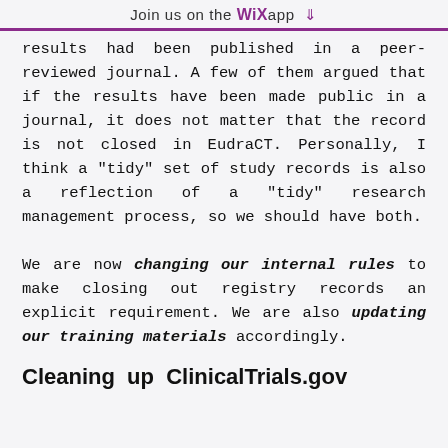Join us on the WiX app ⬇
results had been published in a peer-reviewed journal. A few of them argued that if the results have been made public in a journal, it does not matter that the record is not closed in EudraCT. Personally, I think a "tidy" set of study records is also a reflection of a "tidy" research management process, so we should have both.
We are now changing our internal rules to make closing out registry records an explicit requirement. We are also updating our training materials accordingly.
Cleaning up ClinicalTrials.gov